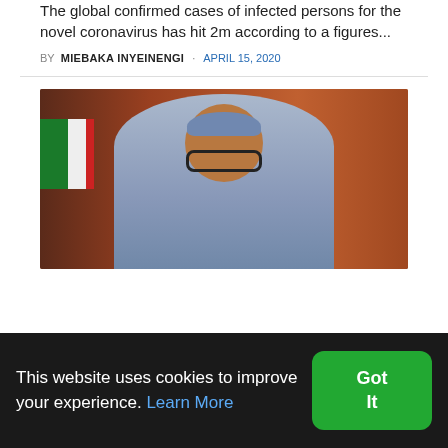The global confirmed cases of infected persons for the novel coronavirus has hit 2m according to a figures...
BY MIEBAKA INYEINENGI · APRIL 15, 2020
[Figure (photo): A man in a light blue traditional outfit and cap, wearing glasses, gesturing with one hand raised, seated at a table with a microphone, flags visible in the background including green and red, brown curtain backdrop.]
This website uses cookies to improve your experience. Learn More
Got It